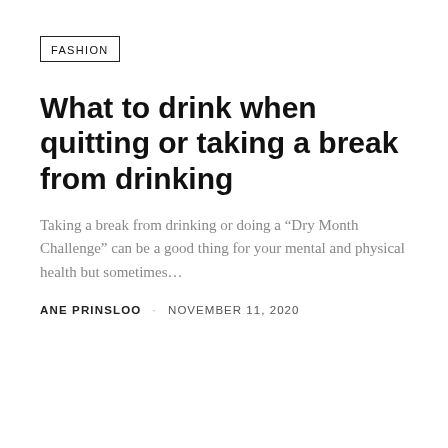FASHION
What to drink when quitting or taking a break from drinking
Taking a break from drinking or doing a “Dry Month Challenge” can be a good thing for your mental and physical health but sometimes…
ANE PRINSLOO · NOVEMBER 11, 2020